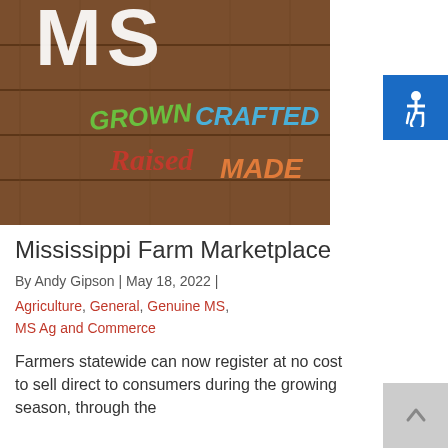[Figure (photo): Wooden sign with 'MS' letters at top and colorful text: 'GROWN' in green, 'CRAFTED' in blue, 'RAISED' in red cursive, 'MADE' in orange — Mississippi branding sign]
Mississippi Farm Marketplace
By Andy Gipson | May 18, 2022 |
Agriculture, General, Genuine MS, MS Ag and Commerce
Farmers statewide can now register at no cost to sell direct to consumers during the growing season, through the